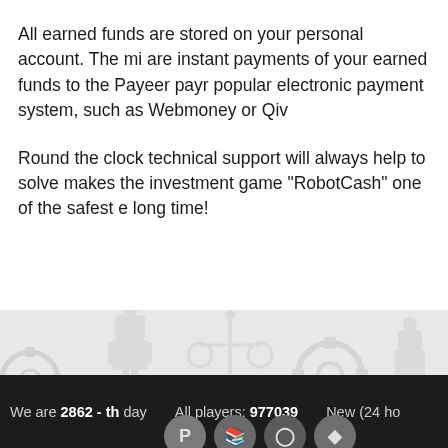All earned funds are stored on your personal account. The mi are instant payments of your earned funds to the Payeer payr popular electronic payment system, such as Webmoney or Qiv
Round the clock technical support will always help to solve makes the investment game "RobotCash" one of the safest e long time!
[Figure (illustration): Light gray background with robot/mechanical themed icons and illustrations including gears, robots, balance scales, and other mechanical elements]
We are 2862 - th day   All players: 977039   New (24 ho